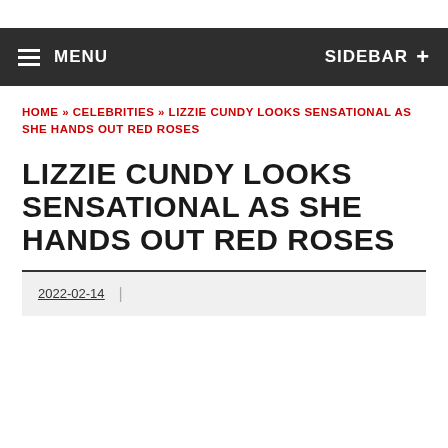MENU | SIDEBAR +
HOME » CELEBRITIES » LIZZIE CUNDY LOOKS SENSATIONAL AS SHE HANDS OUT RED ROSES
LIZZIE CUNDY LOOKS SENSATIONAL AS SHE HANDS OUT RED ROSES
2022-02-14